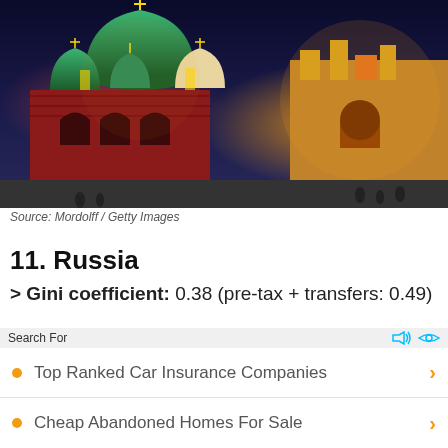[Figure (photo): Photo of Russian Orthodox churches and Kremlin-style buildings illuminated at night, with colorful domes and orange/red brick architecture]
Source: Mordolff / Getty Images
11. Russia
> Gini coefficient: 0.38 (pre-tax + transfers: 0.49)
> Unemployment rate: 5.2%
> GDP per capita: $24,417
> Poverty rate: N/A
Search For
Top Ranked Car Insurance Companies
Cheap Abandoned Homes For Sale